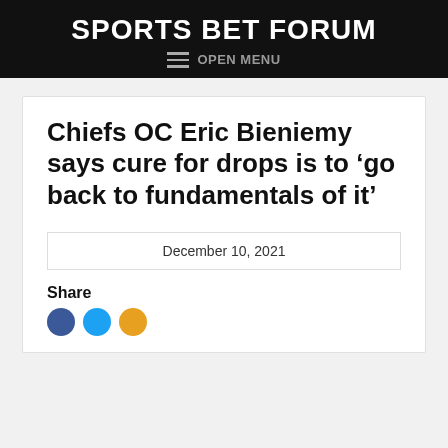SPORTS BET FORUM
≡ OPEN MENU
Chiefs OC Eric Bieniemy says cure for drops is to ‘go back to fundamentals of it’
December 10, 2021
Share